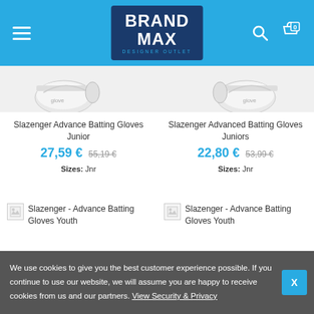BrandMax Designer Outlet
[Figure (screenshot): Partial product image of Slazenger batting gloves (top, cropped)]
[Figure (screenshot): Partial product image of Slazenger batting gloves (top, cropped)]
Slazenger Advance Batting Gloves Junior
27,59 € 55,19 €
Sizes: Jnr
Slazenger Advanced Batting Gloves Juniors
22,80 € 53,99 €
Sizes: Jnr
[Figure (photo): Slazenger - Advance Batting Gloves Youth (broken image placeholder)]
Slazenger - Advance Batting Gloves Youth
[Figure (photo): Slazenger - Advance Batting Gloves Youth (broken image placeholder)]
Slazenger - Advance Batting Gloves Youth
We use cookies to give you the best customer experience possible. If you continue to use our website, we will assume you are happy to receive cookies from us and our partners. View Security & Privacy